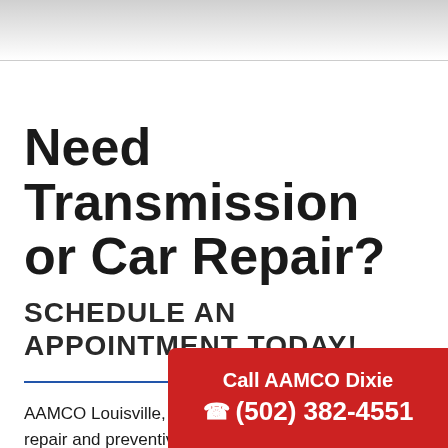Need Transmission or Car Repair?
SCHEDULE AN APPOINTMENT TODAY!
AAMCO Louisville, Dixie Hwy is a full-service auto repair and preventive maintenance center in Louisville, Kentucky right o... we're independently owned...
Call AAMCO Dixie ☎ (502) 382-4551